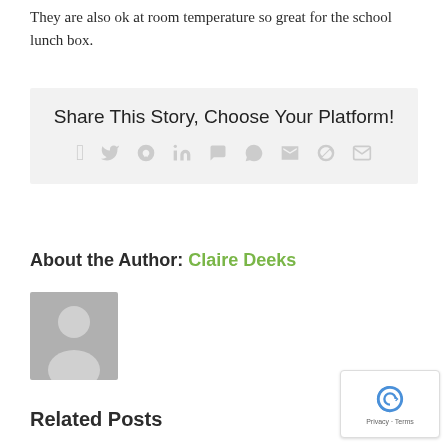They are also ok at room temperature so great for the school lunch box.
Share This Story, Choose Your Platform!
[Figure (infographic): Social media sharing icons: Facebook, Twitter, Reddit, LinkedIn, WhatsApp, Tumblr, Pinterest, VK, Email]
About the Author: Claire Deeks
[Figure (photo): Generic grey avatar placeholder image of a person silhouette]
Related Posts